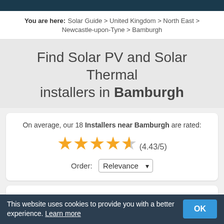You are here: Solar Guide > United Kingdom > North East > Newcastle-upon-Tyne > Bamburgh
Find Solar PV and Solar Thermal installers in Bamburgh
On average, our 18 Installers near Bamburgh are rated: ★★★★☆ (4.43/5)
Order: Relevance
Effective Home
This website uses cookies to provide you with a better experience. Learn more